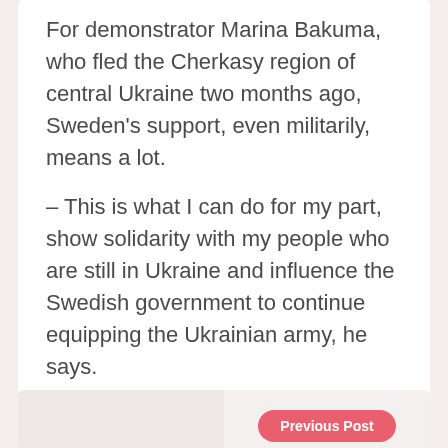For demonstrator Marina Bakuma, who fled the Cherkasy region of central Ukraine two months ago, Sweden's support, even militarily, means a lot.
– This is what I can do for my part, show solidarity with my people who are still in Ukraine and influence the Swedish government to continue equipping the Ukrainian army, he says.
Previous Post